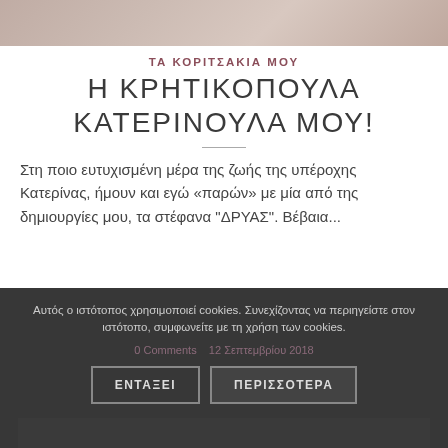[Figure (photo): Partial photo strip at top of page showing people, cropped]
ΤΑ ΚΟΡΙΤΣΑΚΙΑ ΜΟΥ
Η ΚΡΗΤΙΚΟΠΟΥΛΑ ΚΑΤΕΡΙΝΟΥΛΑ ΜΟΥ!
Στη ποιο ευτυχισμένη μέρα της ζωής της υπέροχης Κατερίνας, ήμουν και εγώ «παρών» με μία από της δημιουργίες μου, τα στέφανα "ΔΡΥΑΣ". Βέβαια...
Αυτός ο ιστότοπος χρησιμοποιεί cookies. Συνεχίζοντας να περιηγείστε στον ιστότοπο, συμφωνείτε με τη χρήση των cookies.
0 Comments   12 Σεπτεμβρίου 2018
ΕΝΤΑΞΕΙ
ΠΕΡΙΣΣΟΤΕΡΑ